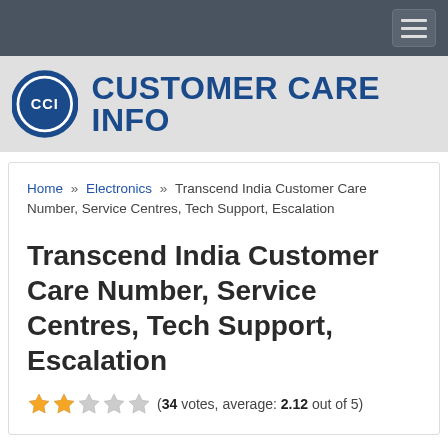Customer Care Info - navigation bar
[Figure (logo): Customer Care Info logo with CCI circular badge and site name in bold blue text]
Home » Electronics » Transcend India Customer Care Number, Service Centres, Tech Support, Escalation
Transcend India Customer Care Number, Service Centres, Tech Support, Escalation
(34 votes, average: 2.12 out of 5)